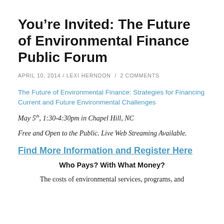You’re Invited: The Future of Environmental Finance Public Forum
APRIL 10, 2014 / LEXI HERNDON / 2 COMMENTS
The Future of Environmental Finance: Strategies for Financing Current and Future Environmental Challenges
May 5th, 1:30-4:30pm in Chapel Hill, NC
Free and Open to the Public. Live Web Streaming Available.
Find More Information and Register Here
Who Pays? With What Money?
The costs of environmental services, programs, and